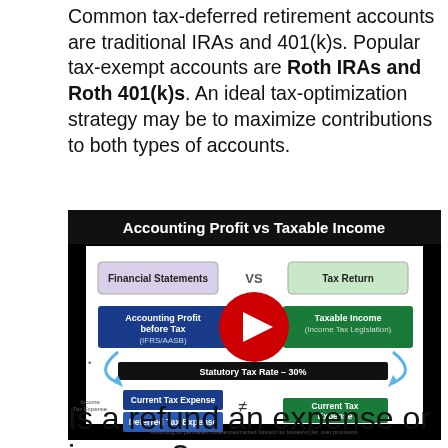Common tax-deferred retirement accounts are traditional IRAs and 401(k)s. Popular tax-exempt accounts are Roth IRAs and Roth 401(k)s. An ideal tax-optimization strategy may be to maximize contributions to both types of accounts.
[Figure (infographic): YouTube video thumbnail showing 'Accounting Profit vs Taxable Income' diagram with Financial Statements vs Tax Return, Accounting Profit before Tax (IFRS/AASB) vs Taxable Income (Income Tax Legislation), Statutory Tax Rate 30%, Current Tax Expense and Deferred Tax Expense boxes, with a YouTube play button overlay.]
Is a refund an expense or income?